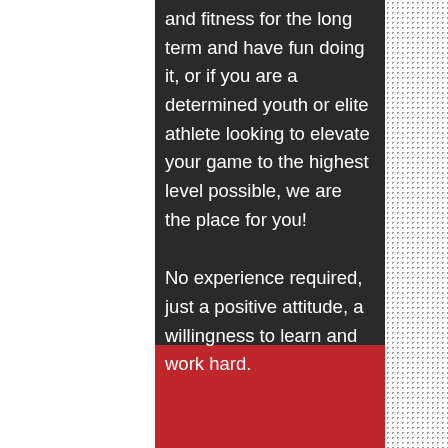and fitness for the long term and have fun doing it, or if you are a determined youth or elite athlete looking to elevate your game to the highest level possible, we are the place for you!

No experience required, just a positive attitude, a willingness to learn and work hard.